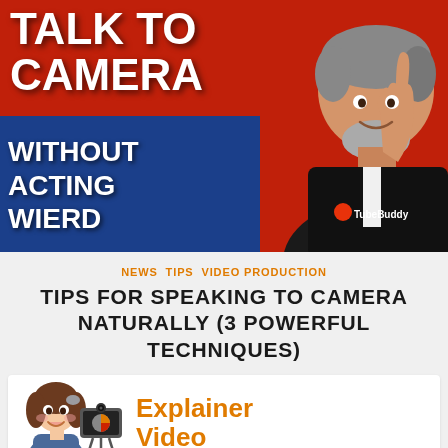[Figure (photo): YouTube thumbnail showing a man in a TubeBuddy t-shirt pointing upward against a red/blue background with white hand-lettered text reading 'TALK TO CAMERA WITHOUT ACTING WIERD']
NEWS  TIPS  VIDEO PRODUCTION
TIPS FOR SPEAKING TO CAMERA NATURALLY (3 POWERFUL TECHNIQUES)
[Figure (illustration): Illustration of a cartoon woman next to a camera on a tripod, with orange text reading 'Explainer Video']